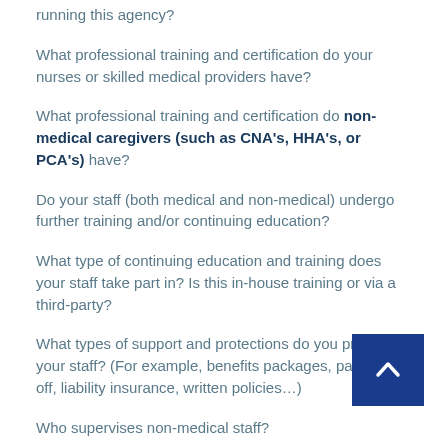running this agency?
What professional training and certification do your nurses or skilled medical providers have?
What professional training and certification do non-medical caregivers (such as CNA's, HHA's, or PCA's) have?
Do your staff (both medical and non-medical) undergo further training and/or continuing education?
What type of continuing education and training does your staff take part in? Is this in-house training or via a third-party?
What types of support and protections do you provide your staff? (For example, benefits packages, paid time off, liability insurance, written policies…)
Who supervises non-medical staff?